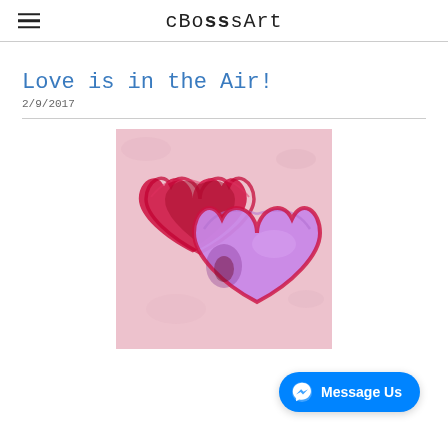cBosssArt
Love is in the Air!
2/9/2017
[Figure (illustration): Painting of two overlapping hearts — a red/dark crimson heart on the left and a purple/lavender heart on the right — on a pink watercolor background. The hearts overlap in the center showing mixed colors. The painting appears to be done in oil pastel or acrylic with visible brushwork/strokes.]
Message Us